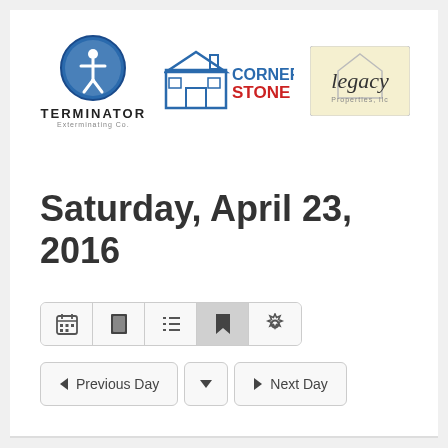[Figure (logo): Terminator Exterminating Co. logo - blue circle with person icon, text TERMINATOR below]
[Figure (logo): CornerStone logo - house illustration with CORNERSTONE text]
[Figure (logo): Legacy Properties LLC logo - yellow background with cursive Legacy text and house outline]
Saturday, April 23, 2016
[Figure (screenshot): Navigation toolbar with calendar, book, list, bookmark (active), and settings icons, plus Previous Day and Next Day navigation buttons]